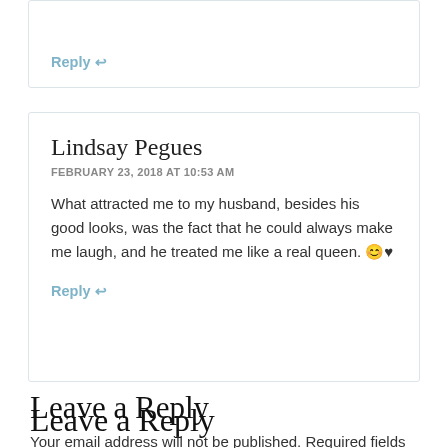Reply ↩
Lindsay Pegues
FEBRUARY 23, 2018 AT 10:53 AM
What attracted me to my husband, besides his good looks, was the fact that he could always make me laugh, and he treated me like a real queen. 😊♥
Reply ↩
Leave a Reply
Your email address will not be published. Required fields are marked *